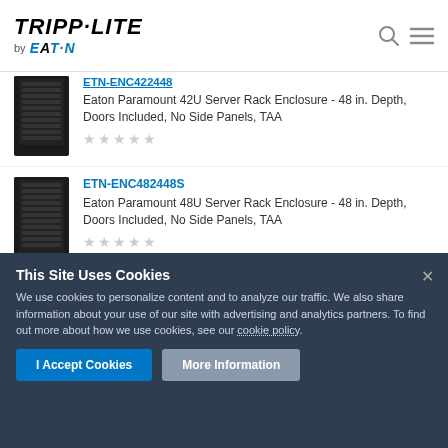[Figure (logo): Tripp-Lite by Eaton logo with search and menu icons]
ETN-ENC422448 (partially visible)
Eaton Paramount 42U Server Rack Enclosure - 48 in. Depth, Doors Included, No Side Panels, TAA
ETN-ENC482448S
Eaton Paramount 48U Server Rack Enclosure - 48 in. Depth, Doors Included, No Side Panels, TAA
This Site Uses Cookies
We use cookies to personalize content and to analyze our traffic. We also share information about your use of our site with advertising and analytics partners. To find out more about how we use cookies, see our cookie policy.
I Accept Cookies
More Information